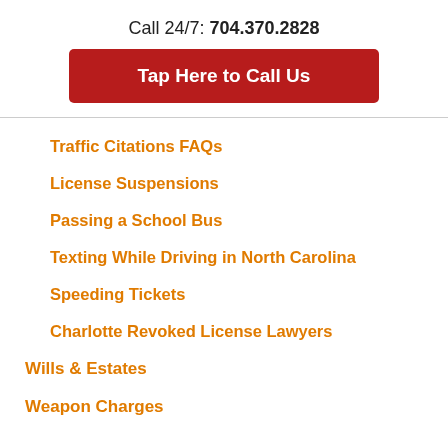Call 24/7: 704.370.2828
[Figure (other): Red button labeled 'Tap Here to Call Us']
Traffic Citations FAQs
License Suspensions
Passing a School Bus
Texting While Driving in North Carolina
Speeding Tickets
Charlotte Revoked License Lawyers
Wills & Estates
Weapon Charges